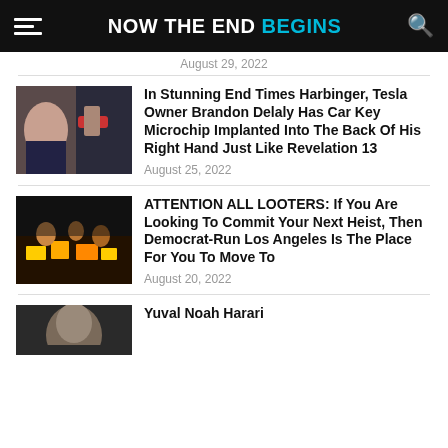NOW THE END BEGINS
August 29, 2022
[Figure (photo): Person with red glove near car door]
In Stunning End Times Harbinger, Tesla Owner Brandon Delaly Has Car Key Microchip Implanted Into The Back Of His Right Hand Just Like Revelation 13
August 25, 2022
[Figure (photo): Crowd looting a store at night]
ATTENTION ALL LOOTERS: If You Are Looking To Commit Your Next Heist, Then Democrat-Run Los Angeles Is The Place For You To Move To
August 20, 2022
[Figure (photo): Portrait of Yuval Noah Harari]
Yuval Noah Harari